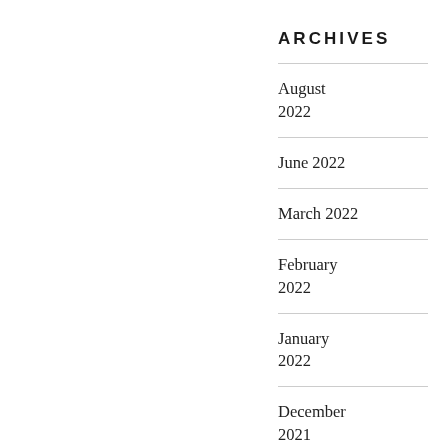ARCHIVES
August 2022
June 2022
March 2022
February 2022
January 2022
December 2021
October